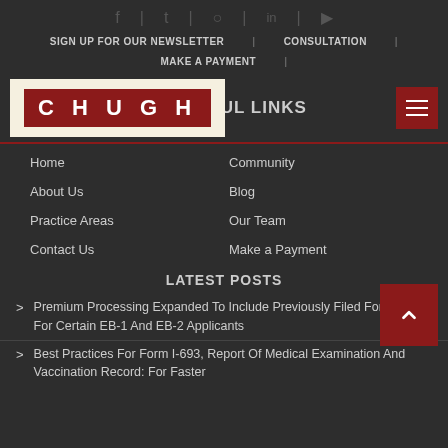Social icons: Facebook, Twitter, Instagram, LinkedIn, YouTube
SIGN UP FOR OUR NEWSLETTER | CONSULTATION
MAKE A PAYMENT
[Figure (logo): CHUGH law firm logo - red background with white text]
HELPFUL LINKS
Home
Community
About Us
Blog
Practice Areas
Our Team
Contact Us
Make a Payment
LATEST POSTS
Premium Processing Expanded To Include Previously Filed Forms I-140 For Certain EB-1 And EB-2 Applicants
Best Practices For Form I-693, Report Of Medical Examination And Vaccination Record: For Faster